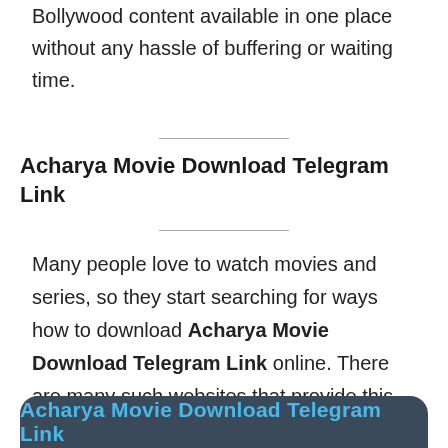Bollywood content available in one place without any hassle of buffering or waiting time.
Acharya Movie Download Telegram Link
Many people love to watch movies and series, so they start searching for ways how to download Acharya Movie Download Telegram Link online. There are many such websites that provide this service to movies for free. Where one may find all the latest Hindi Hollywood and Bollywood content available in one place without any hassle of buffering or waiting time.
[Figure (other): Dark rounded button/bar at bottom of page with blue text reading 'Acharya Movie Download Telegram Link']